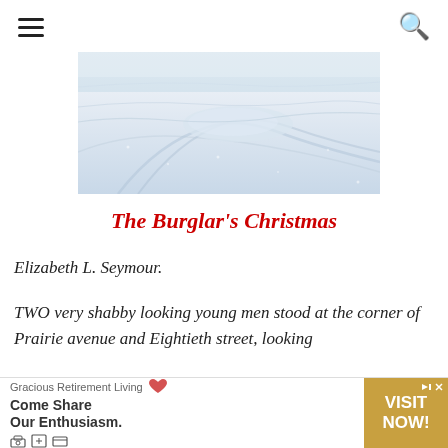☰ [navigation] 🔍 [search]
[Figure (photo): Snowy winter road or field with tire tracks and windswept snow, pale blue-white tones]
The Burglar's Christmas
Elizabeth L. Seymour.
TWO very shabby looking young men stood at the corner of Prairie avenue and Eightieth street, looking
[Figure (infographic): Advertisement: Gracious Retirement Living — Come Share Our Enthusiasm. VISIT NOW!]